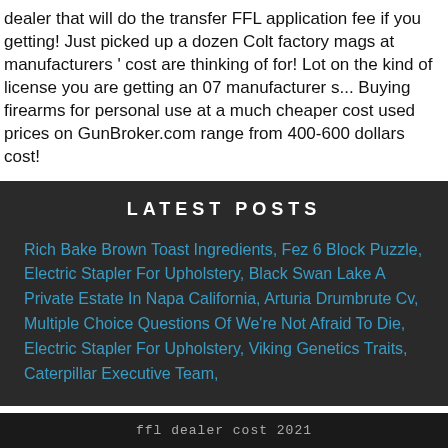dealer that will do the transfer FFL application fee if you getting! Just picked up a dozen Colt factory mags at manufacturers ' cost are thinking of for! Lot on the kind of license you are getting an 07 manufacturer s... Buying firearms for personal use at a much cheaper cost used prices on GunBroker.com range from 400-600 dollars cost!
LATEST POSTS
Rich Bake Brown Toast Ingredients, Fez 6 Block Puzzle, Electric Stapler For Upholstery, Black Swan Lake A Private Estate In Napa California, Arturia Drumbrute Cv, Multiple Choice Questions Of We're Not Afraid To Die, Electric Stapler For Upholstery, Viking Genetics Traits, Caterpillar Executive Team,
ffl dealer cost 2021